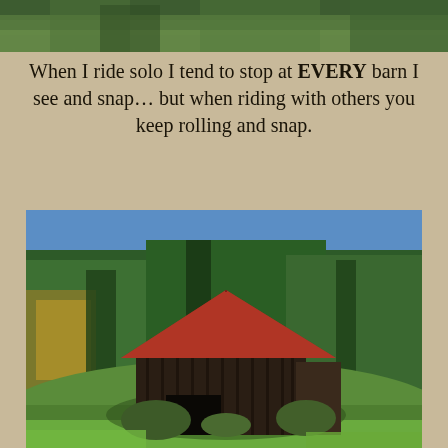[Figure (photo): Top partial crop of a rural or nature scene with green trees and foliage]
When I ride solo I tend to stop at EVERY barn I see and snap... but when riding with others you keep rolling and snap.
[Figure (photo): A rustic dark wooden barn with a red metal roof sitting on a grassy hill, surrounded by dense green and autumnal trees under a blue sky]